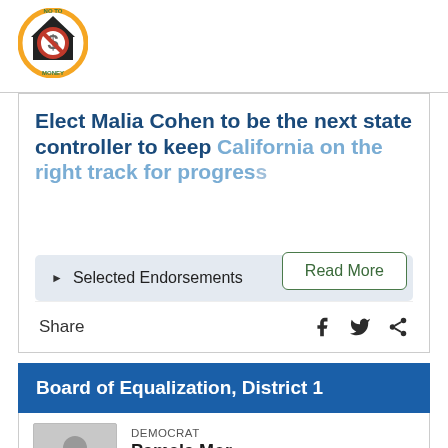[Figure (logo): Circular logo with house and dollar sign crossed out, text 'NO TO MONEY' around the border, orange circle outline]
Elect Malia Cohen to be the next state controller to keep California on the right track for progress
Read More
▶ Selected Endorsements
Share
Board of Equalization, District 1
DEMOCRAT
Pamela Mor...